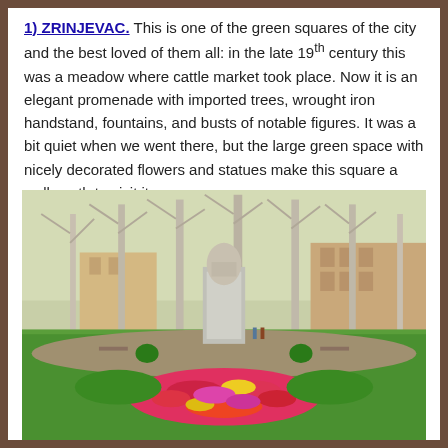1) ZRINJEVAC. This is one of the green squares of the city and the best loved of them all: in the late 19th century this was a meadow where cattle market took place. Now it is an elegant promenade with imported trees, wrought iron handstand, fountains, and busts of notable figures. It was a bit quiet when we went there, but the large green space with nicely decorated flowers and statues make this square a well worth to visit it.
[Figure (photo): Photograph of Zrinjevac square in Zagreb showing a stone bust/statue monument on a tall pedestal surrounded by a circular flower bed with colorful red, pink, yellow and purple flowers, lush green grass, and tall bare-branched plane trees in the background with historic buildings visible.]